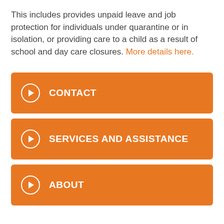This includes provides unpaid leave and job protection for individuals under quarantine or in isolation, or providing care to a child as a result of school and day care closures. More details here.
CONTACT
SERVICES AND ASSISTANCE
ABOUT